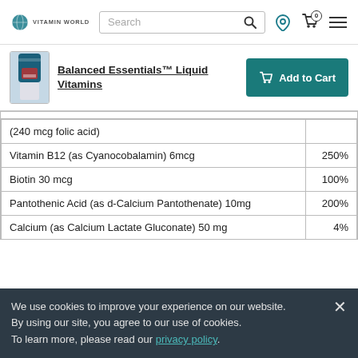VITAMIN WORLD | Search | [location icon] [cart icon 0] [menu icon]
[Figure (photo): Balanced Essentials Liquid Vitamins product bottle thumbnail]
Balanced Essentials™ Liquid Vitamins
Add to Cart
| Ingredient | %DV |
| --- | --- |
| (240 mcg folic acid) |  |
| Vitamin B12 (as Cyanocobalamin) 6mcg | 250% |
| Biotin 30 mcg | 100% |
| Pantothenic Acid (as d-Calcium Pantothenate) 10mg | 200% |
| Calcium (as Calcium Lactate Gluconate) 50 mg | 4% |
We use cookies to improve your experience on our website.
By using our site, you agree to our use of cookies.
To learn more, please read our privacy policy.